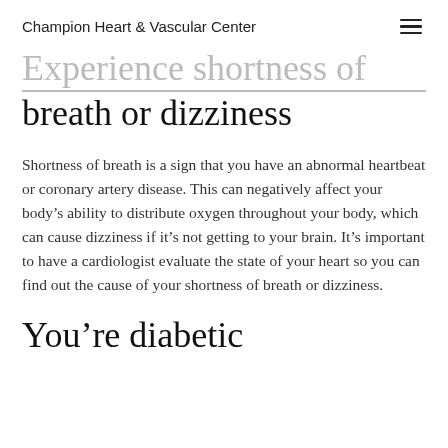Champion Heart & Vascular Center
Experience shortness of breath or dizziness
Shortness of breath is a sign that you have an abnormal heartbeat or coronary artery disease. This can negatively affect your body’s ability to distribute oxygen throughout your body, which can cause dizziness if it’s not getting to your brain. It’s important to have a cardiologist evaluate the state of your heart so you can find out the cause of your shortness of breath or dizziness.
You’re diabetic